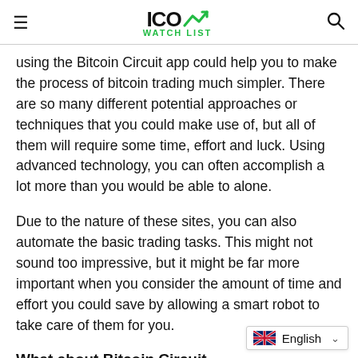ICO WATCHLIST
using the Bitcoin Circuit app could help you to make the process of bitcoin trading much simpler. There are so many different potential approaches or techniques that you could make use of, but all of them will require some time, effort and luck. Using advanced technology, you can often accomplish a lot more than you would be able to alone.
Due to the nature of these sites, you can also automate the basic trading tasks. This might not sound too impressive, but it might be far more important when you consider the amount of time and effort you could save by allowing a smart robot to take care of them for you.
What about Bitcoin Circuit
English